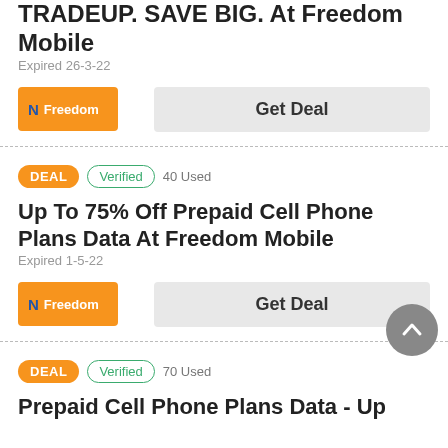TRADEUP. SAVE BIG. At Freedom Mobile
Expired 26-3-22
[Figure (logo): Freedom Mobile orange logo]
Get Deal
DEAL  Verified  40 Used
Up To 75% Off Prepaid Cell Phone Plans Data At Freedom Mobile
Expired 1-5-22
[Figure (logo): Freedom Mobile orange logo]
Get Deal
DEAL  Verified  70 Used
Prepaid Cell Phone Plans Data - Up